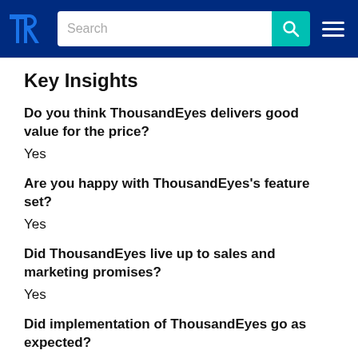TrustRadius navigation header with logo, search bar, and menu
Key Insights
Do you think ThousandEyes delivers good value for the price?
Yes
Are you happy with ThousandEyes's feature set?
Yes
Did ThousandEyes live up to sales and marketing promises?
Yes
Did implementation of ThousandEyes go as expected?
Yes